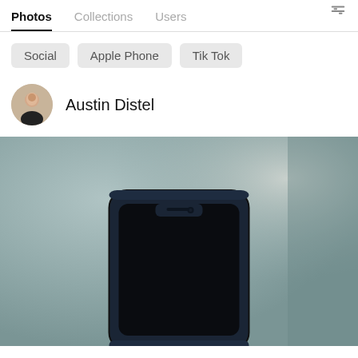Photos  Collections  Users
Social
Apple Phone
Tik Tok
Austin Distel
[Figure (photo): A dark-colored smartphone (iPhone-style with notch) in a rugged case, photographed from above against a blurred grey-blue background.]